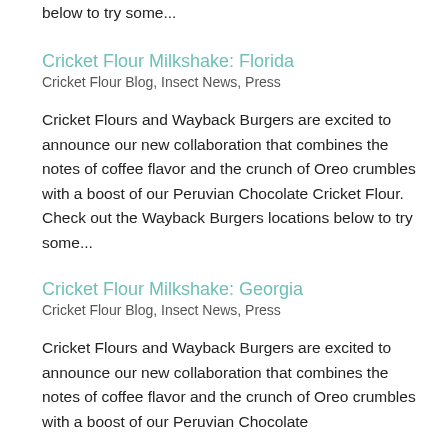below to try some...
Cricket Flour Milkshake: Florida
Cricket Flour Blog, Insect News, Press
Cricket Flours and Wayback Burgers are excited to announce our new collaboration that combines the notes of coffee flavor and the crunch of Oreo crumbles with a boost of our Peruvian Chocolate Cricket Flour. Check out the Wayback Burgers locations below to try some...
Cricket Flour Milkshake: Georgia
Cricket Flour Blog, Insect News, Press
Cricket Flours and Wayback Burgers are excited to announce our new collaboration that combines the notes of coffee flavor and the crunch of Oreo crumbles with a boost of our Peruvian Chocolate